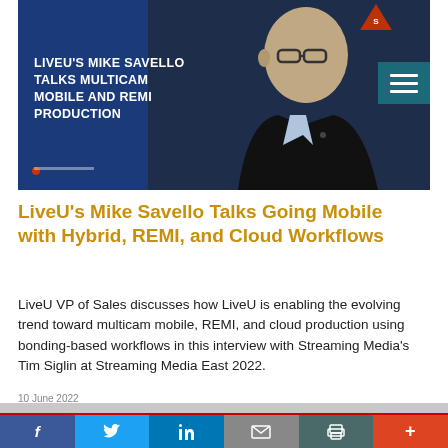[Figure (photo): Video thumbnail showing a bald man in a dark suit being interviewed, with text overlay reading LIVEU'S MIKE SAVELLO TALKS MULTICAM MOBILE AND REMI PRODUCTION on a blue background. A hamburger menu icon appears in the top right.]
LiveU's Mike Savello Talks Going Mobile with Hybrid, REMI, and Cloud Workflows
LiveU VP of Sales discusses how LiveU is enabling the evolving trend toward multicam mobile, REMI, and cloud production using bonding-based workflows in this interview with Streaming Media's Tim Siglin at Streaming Media East 2022.
Social share bar: Facebook, Twitter, LinkedIn, Email, Print, More